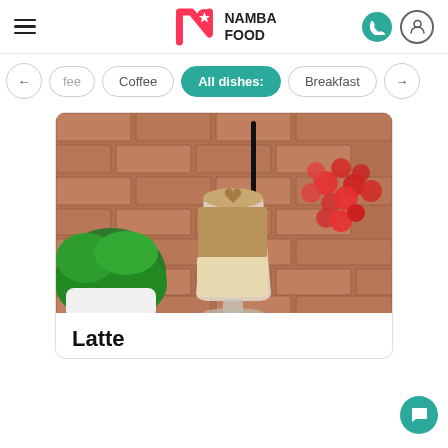Namba Food
Coffee
All dishes:
Breakfast
[Figure (photo): A latte coffee in a glass mug with latte art on top and a straw, placed on a brick surface with red flowers and a green plant in background]
Latte